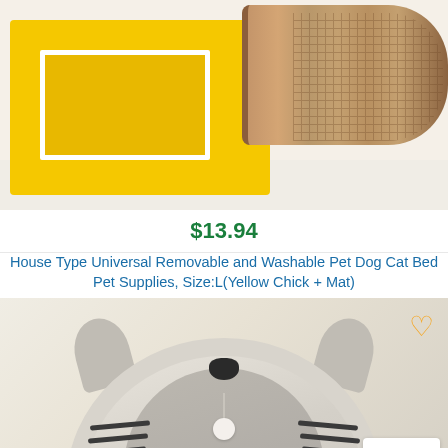[Figure (photo): Yellow house-shaped pet bed with a rolled woven mat/rug beside it on a light cream surface]
$13.94
House Type Universal Removable and Washable Pet Dog Cat Bed Pet Supplies, Size:L(Yellow Chick + Mat)
[Figure (photo): Gray cat-shaped pet bed with circular arch entrance, cat ears on top, black nose, dangling white pom-pom ball, and black stripe markings on sides]